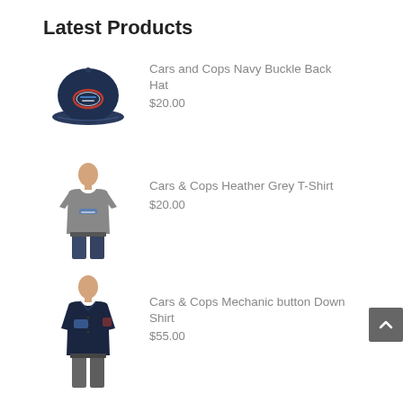Latest Products
[Figure (photo): Navy baseball cap with Cars and Cops logo patch]
Cars and Cops Navy Buckle Back Hat
$20.00
[Figure (photo): Man wearing heather grey t-shirt with Cars & Cops logo]
Cars & Cops Heather Grey T-Shirt
$20.00
[Figure (photo): Man wearing navy mechanic button down shirt with Cars & Cops logo]
Cars & Cops Mechanic button Down Shirt
$55.00